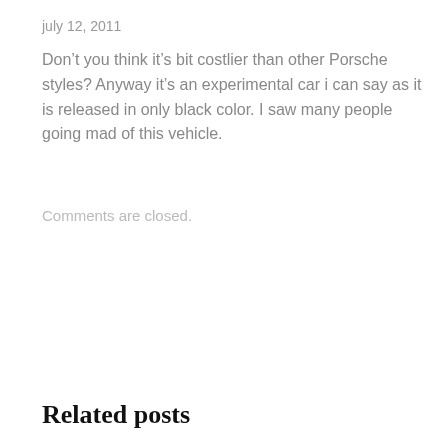july 12, 2011
Don’t you think it’s bit costlier than other Porsche styles? Anyway it’s an experimental car i can say as it is released in only black color. I saw many people going mad of this vehicle.
Comments are closed.
Related posts